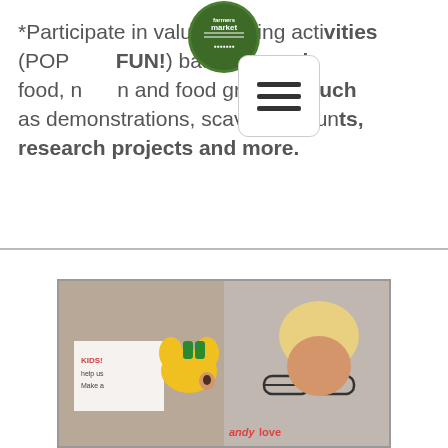[Figure (logo): Farmers Market circular green logo at top center]
*Participate in value-creating activities (POP OUR FUN!) based around food, nutrition and food growing, such as demonstrations, scavenger hunts, research projects and more.
[Figure (photo): Children doing activities at a farmers market event, one child holding a yellow toy/food item near their face, another child visible in background]